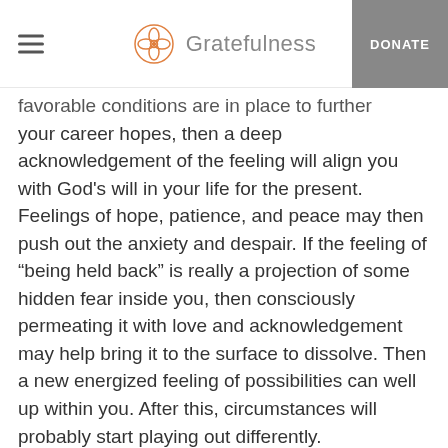Gratefulness | DONATE
favorable conditions are in place to further your career hopes, then a deep acknowledgement of the feeling will align you with God's will in your life for the present. Feelings of hope, patience, and peace may then push out the anxiety and despair. If the feeling of “being held back” is really a projection of some hidden fear inside you, then consciously permeating it with love and acknowledgement may help bring it to the surface to dissolve. Then a new energized feeling of possibilities can well up within you. After this, circumstances will probably start playing out differently.
Best wishes for your journey,